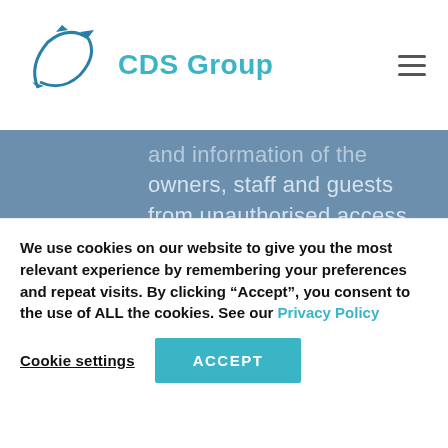[Figure (logo): CDS Group logo with teal arrow/orbit icon and teal 'CDS Group' text]
and information of the owners, staff and guests from unauthorised access, along with secure deletion of private data where necessary.
We use cookies on our website to give you the most relevant experience by remembering your preferences and repeat visits. By clicking “Accept”, you consent to the use of ALL the cookies. See our Privacy Policy
Cookie settings  ACCEPT